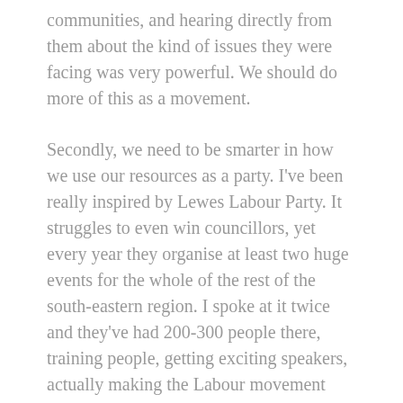communities, and hearing directly from them about the kind of issues they were facing was very powerful. We should do more of this as a movement.
Secondly, we need to be smarter in how we use our resources as a party. I've been really inspired by Lewes Labour Party. It struggles to even win councillors, yet every year they organise at least two huge events for the whole of the rest of the south-eastern region. I spoke at it twice and they've had 200-300 people there, training people, getting exciting speakers, actually making the Labour movement feel part of something broader rather than just being isolated and fighting uphill